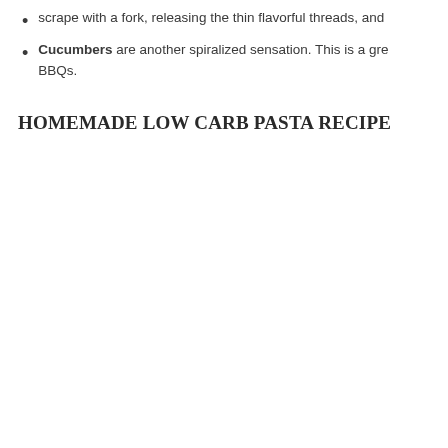scrape with a fork, releasing the thin flavorful threads, and
Cucumbers are another spiralized sensation. This is a gre BBQs.
HOMEMADE LOW CARB PASTA RECIPE